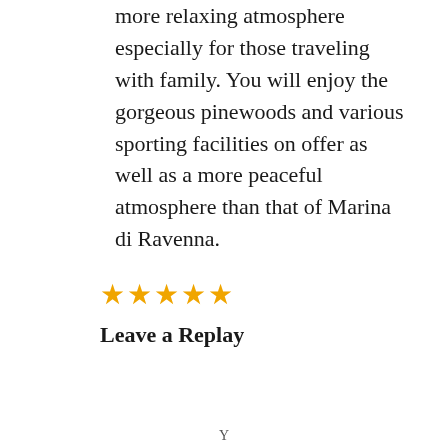more relaxing atmosphere especially for those traveling with family. You will enjoy the gorgeous pinewoods and various sporting facilities on offer as well as a more peaceful atmosphere than that of Marina di Ravenna.
[Figure (other): Five gold star rating icons]
Leave a Replay
Y